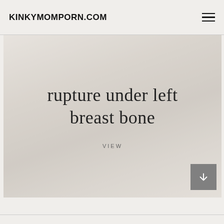KINKYMOMPORN.COM
[Figure (photo): White sofa/pillow background image with text overlay showing 'rupture under left breast bone' and 'VIEW' link]
rupture under left breast bone
VIEW